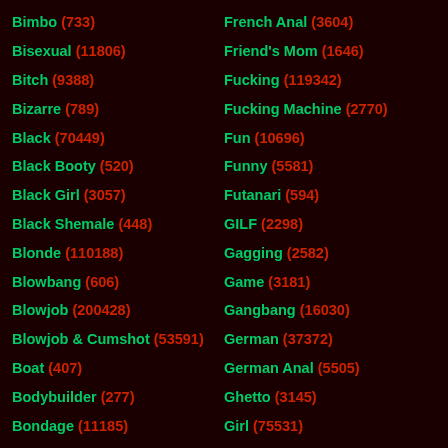Bimbo (733) | French Anal (3604)
Bisexual (11806) | Friend's Mom (1646)
Bitch (9388) | Fucking (119342)
Bizarre (789) | Fucking Machine (2770)
Black (70449) | Fun (10696)
Black Booty (520) | Funny (5581)
Black Girl (3057) | Futanari (594)
Black Shemale (448) | GILF (2298)
Blonde (110188) | Gagging (2582)
Blowbang (606) | Game (3181)
Blowjob (200428) | Gangbang (16030)
Blowjob & Cumshot (53591) | German (37372)
Boat (407) | German Anal (5505)
Bodybuilder (277) | Ghetto (3145)
Bondage (11185) | Girl (75531)